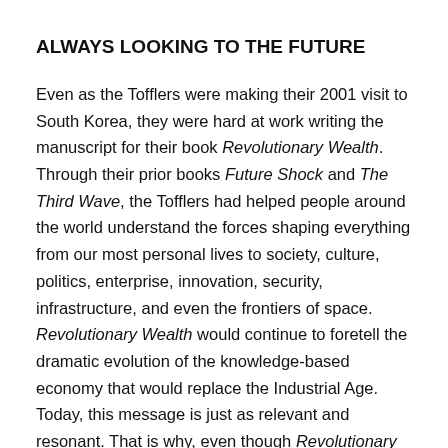ALWAYS LOOKING TO THE FUTURE
Even as the Tofflers were making their 2001 visit to South Korea, they were hard at work writing the manuscript for their book Revolutionary Wealth. Through their prior books Future Shock and The Third Wave, the Tofflers had helped people around the world understand the forces shaping everything from our most personal lives to society, culture, politics, enterprise, innovation, security, infrastructure, and even the frontiers of space. Revolutionary Wealth would continue to foretell the dramatic evolution of the knowledge-based economy that would replace the Industrial Age. Today, this message is just as relevant and resonant. That is why, even though Revolutionary Wealth was first released in 2006, it is now being